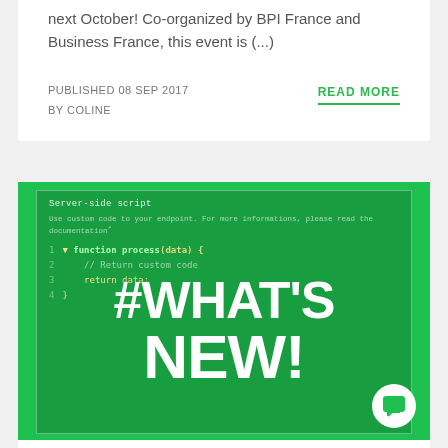next October! Co-organized by BPI France and Business France, this event is (...)
PUBLISHED 08 SEP 2017
BY COLINE
READ MORE
[Figure (screenshot): Green background panel showing a code editor snippet with 'Server-side script' header and JavaScript function process(data) code, overlaid with large white text '#WHAT'S NEW!' and a circular chat icon in bottom right corner.]